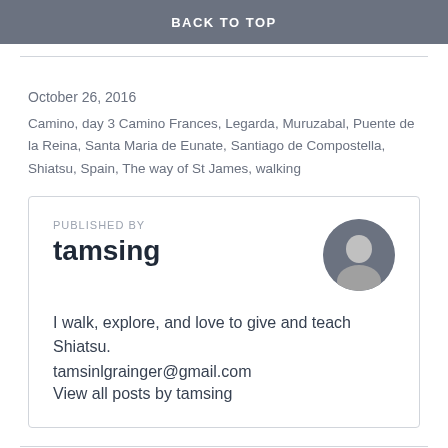BACK TO TOP
October 26, 2016
Camino, day 3 Camino Frances, Legarda, Muruzabal, Puente de la Reina, Santa Maria de Eunate, Santiago de Compostella, Shiatsu, Spain, The way of St James, walking
PUBLISHED BY
tamsing
I walk, explore, and love to give and teach Shiatsu.
tamsinlgrainger@gmail.com
View all posts by tamsing
4 thoughts on “Walking